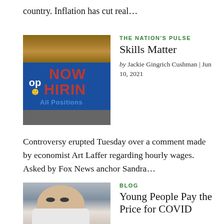country. Inflation has cut real…
[Figure (photo): A 'Now Hiring All Positions' sign in a blue and red storefront window, partially cropped]
THE NATION'S PULSE
Skills Matter
by Jackie Gingrich Cushman | Jun 10, 2021
Controversy erupted Tuesday over a comment made by economist Art Laffer regarding hourly wages. Asked by Fox News anchor Sandra…
[Figure (photo): Close-up of a young woman wearing a white face mask, looking at camera]
BLOG
Young People Pay the Price for COVID